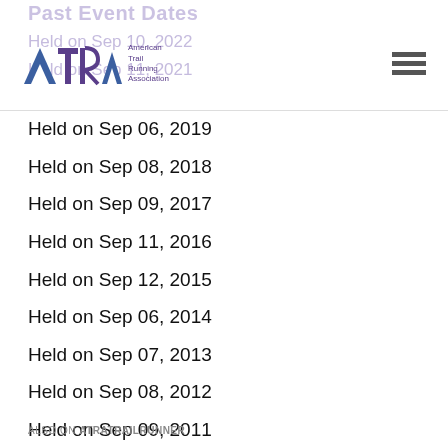ATRA - American Trail Running Association
Past Event Dates
Held on Sep 10, 2022
Held on Sep 11, 2021
Held on Sep 06, 2019
Held on Sep 08, 2018
Held on Sep 09, 2017
Held on Sep 11, 2016
Held on Sep 12, 2015
Held on Sep 06, 2014
Held on Sep 07, 2013
Held on Sep 08, 2012
Held on Sep 09, 2011
Held on Sep 25, 2010
Held on Sep 25, 2009
Event Results
ALSO ON ATRATRAILRUNNER